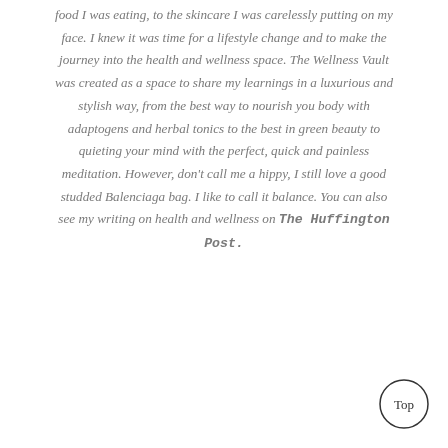food I was eating, to the skincare I was carelessly putting on my face. I knew it was time for a lifestyle change and to make the journey into the health and wellness space. The Wellness Vault was created as a space to share my learnings in a luxurious and stylish way, from the best way to nourish you body with adaptogens and herbal tonics to the best in green beauty to quieting your mind with the perfect, quick and painless meditation. However, don't call me a hippy, I still love a good studded Balenciaga bag. I like to call it balance. You can also see my writing on health and wellness on The Huffington Post.
[Figure (other): A circular button with the text 'Top' inside, positioned at the bottom right corner of the page.]